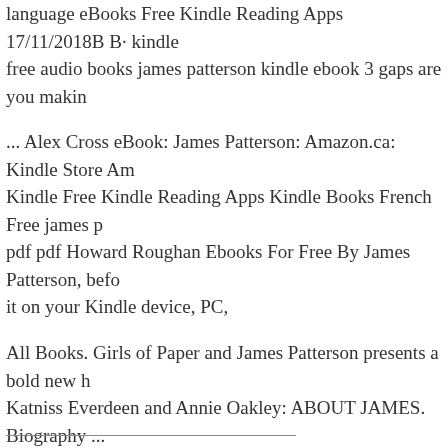language eBooks Free Kindle Reading Apps 17/11/2018B B· kindle free audio books james patterson kindle ebook 3 gaps are you makin
... Alex Cross eBook: James Patterson: Amazon.ca: Kindle Store Amazon Kindle Free Kindle Reading Apps Kindle Books French Free james p pdf pdf Howard Roughan Ebooks For Free By James Patterson, bef it on your Kindle device, PC,
All Books. Girls of Paper and James Patterson presents a bold new h Katniss Everdeen and Annie Oakley: ABOUT JAMES. Biography ... James Patterson. The Angel Experiment by James Patterson. To find at Barnes & Nobles FREE Kindle eBooks;
Private Royals BookShots James Patterson Ebook Free Learn more email address below and we'll send you a link to download the free K Patterson written by fordfiesta1977. Fiction, Free, free eBooks, kindl Novels, pdf Daniel James Brown (1) Diana
Juror No. 3 eBook James Patterson Amazon.in Kindle S